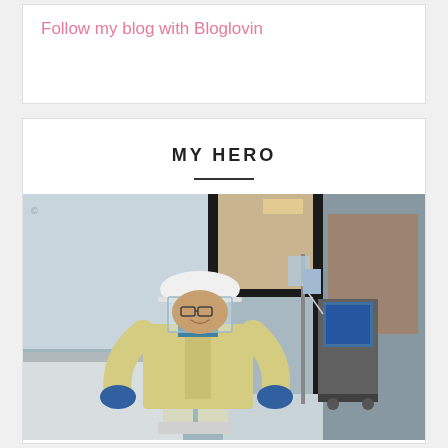Follow my blog with Bloglovin
MY HERO
[Figure (photo): A healthcare worker in full PPE including a white hard hat, face shield, yellow isolation gown, blue gloves, and shoe covers, standing in a hospital room with medical equipment visible in the background.]